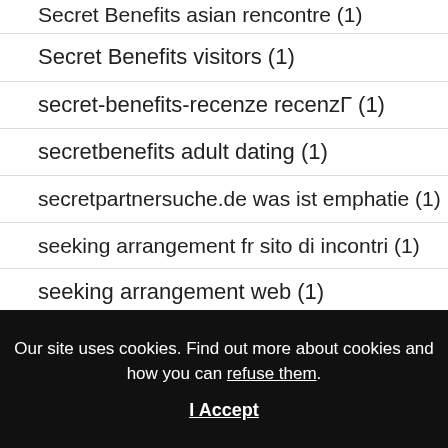Secret Benefits asian rencontre (1)
Secret Benefits visitors (1)
secret-benefits-recenze recenzГ (1)
secretbenefits adult dating (1)
secretpartnersuche.de was ist emphatie (1)
seeking arrangement fr sito di incontri (1)
seeking arrangement web (1)
Our site uses cookies. Find out more about cookies and how you can refuse them.
I Accept